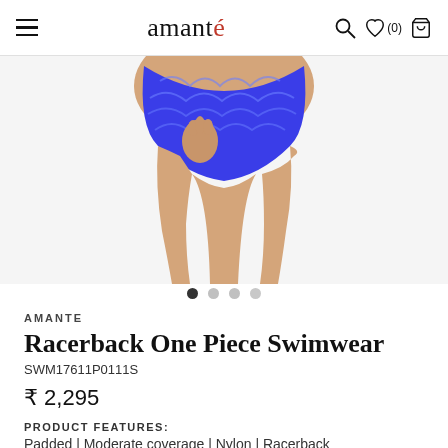amanté
[Figure (photo): Product photo showing the lower torso and legs of a model wearing blue patterned swimwear bottoms (Racerback One Piece Swimwear by Amanté), with image carousel dots below]
AMANTE
Racerback One Piece Swimwear
SWM17611P0111S
₹ 2,295
PRODUCT FEATURES:
Padded | Moderate coverage | Nylon | Racerback